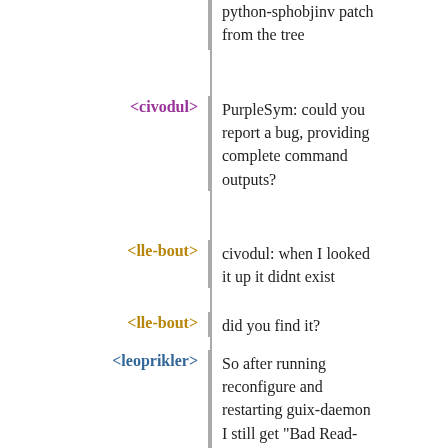python-sphobjinv patch from the tree
<civodul> PurpleSym: could you report a bug, providing complete command outputs?
<lle-bout> civodul: when I looked it up it didnt exist
<lle-bout> did you find it?
<leoprikler> So after running reconfigure and restarting guix-daemon I still get "Bad Read-Header-Line header: #<eof>"